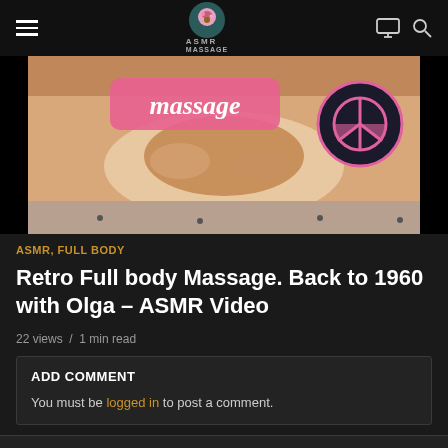ASMR MASSAGE
[Figure (screenshot): Video thumbnail showing a massage scene with 'massage' text badge and peace sign logo on dark background]
ASMR, FULL BODY
Retro Full body Massage. Back to 1960 with Olga – ASMR Video
22 views / 1 min read
ADD COMMENT
You must be logged in to post a comment.